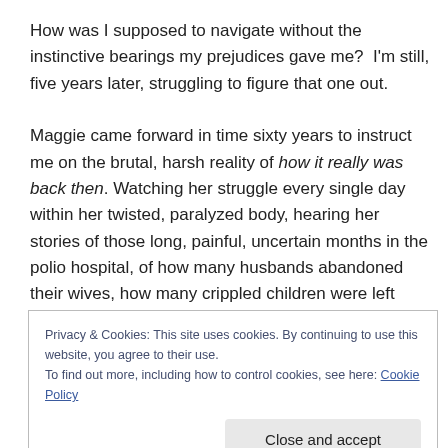How was I supposed to navigate without the instinctive bearings my prejudices gave me?  I'm still, five years later, struggling to figure that one out.

Maggie came forward in time sixty years to instruct me on the brutal, harsh reality of how it really was back then. Watching her struggle every single day within her twisted, paralyzed body, hearing her stories of those long, painful, uncertain months in the polio hospital, of how many husbands abandoned their wives, how many crippled children were left behind and forgotten, all these things
Privacy & Cookies: This site uses cookies. By continuing to use this website, you agree to their use.
To find out more, including how to control cookies, see here: Cookie Policy
Close and accept